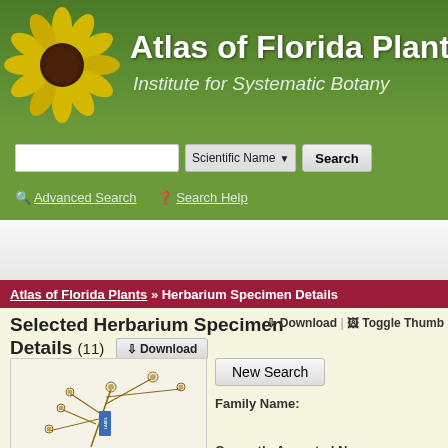[Figure (logo): Atlas of Florida Plants website header with sunflower image and green background. Title reads 'Atlas of Florida Plants' and subtitle 'Institute for Systematic Botany']
Atlas of Florida Plants | Institute for Systematic Botany
Scientific Name Search | Advanced Search | Search Help
[Figure (photo): Advertisement banner area]
Atlas of Florida Plants » Herbarium Specimen Details
Selected Herbarium Specimen Details (11)
Download | Toggle Thumbs
[Figure (photo): Herbarium specimen photograph showing dried plant with small round flower heads on branching stems, with a blue label tag]
New Search
Family Name:
Currently Accepted Name: